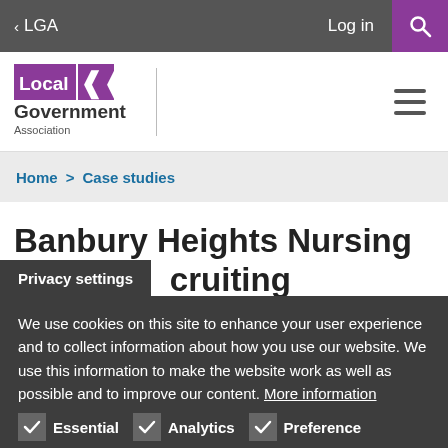< LGA  Log in  [search]
[Figure (logo): Local Government Association logo with purple bird/lion icon]
Home > Case studies
Banbury Heights Nursing [Home: re]cruiting overseas for
Privacy settings
We use cookies on this site to enhance your user experience and to collect information about how you use our website. We use this information to make the website work as well as possible and to improve our content. More information
Essential  Analytics  Preference